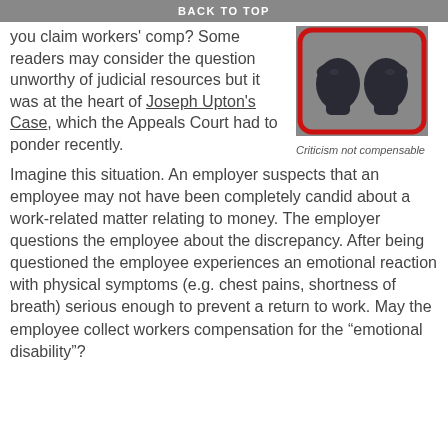BACK TO TOP
you claim workers' comp? Some readers may consider the question unworthy of judicial resources but it was at the heart of Joseph Upton's Case, which the Appeals Court had to ponder recently.
[Figure (illustration): Illustration of two boxing gloves facing each other, in dark silhouette, inside a red rounded rectangle border, on a gray background.]
Criticism not compensable
Imagine this situation. An employer suspects that an employee may not have been completely candid about a work-related matter relating to money. The employer questions the employee about the discrepancy. After being questioned the employee experiences an emotional reaction with physical symptoms (e.g. chest pains, shortness of breath) serious enough to prevent a return to work. May the employee collect workers compensation for the “emotional disability”?